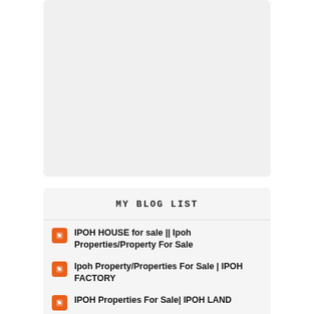[Figure (other): Gray placeholder box area]
MY BLOG LIST
IPOH HOUSE for sale || Ipoh Properties/Property For Sale
Ipoh Property/Properties For Sale | IPOH FACTORY
IPOH Properties For Sale| IPOH LAND